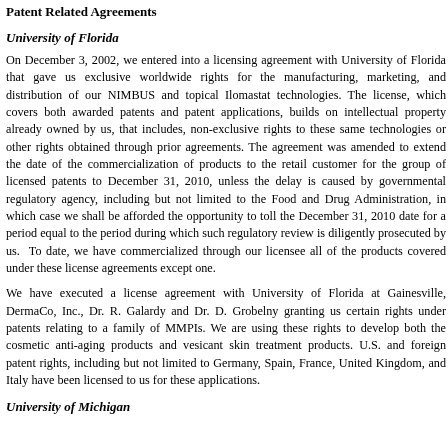Patent Related Agreements
University of Florida
On December 3, 2002, we entered into a licensing agreement with University of Florida that gave us exclusive worldwide rights for the manufacturing, marketing, and distribution of our NIMBUS and topical Ilomastat technologies. The license, which covers both awarded patents and patent applications, builds on intellectual property already owned by us, that includes, non-exclusive rights to these same technologies or other rights obtained through prior agreements. The agreement was amended to extend the date of the commercialization of products to the retail customer for the group of licensed patents to December 31, 2010, unless the delay is caused by governmental regulatory agency, including but not limited to the Food and Drug Administration, in which case we shall be afforded the opportunity to toll the December 31, 2010 date for a period equal to the period during which such regulatory review is diligently prosecuted by us.  To date, we have commercialized through our licensee all of the products covered under these license agreements except one.
We have executed a license agreement with University of Florida at Gainesville, DermaCo, Inc., Dr. R. Galardy and Dr. D. Grobelny granting us certain rights under patents relating to a family of MMPIs. We are using these rights to develop both the cosmetic anti-aging products and vesicant skin treatment products. U.S. and foreign patent rights, including but not limited to Germany, Spain, France, United Kingdom, and Italy have been licensed to us for these applications.
University of Michigan